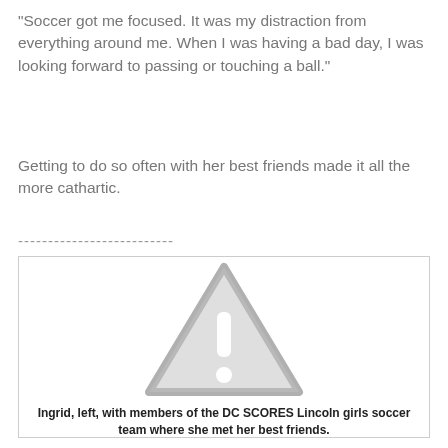“Soccer got me focused. It was my distraction from everything around me. When I was having a bad day, I was looking forward to passing or touching a ball.”
Getting to do so often with her best friends made it all the more cathartic.
--------------------------
[Figure (photo): Placeholder image with warning/unavailable icon (grey triangle with exclamation mark) indicating an image that could not be loaded.]
Ingrid, left, with members of the DC SCORES Lincoln girls soccer team where she met her best friends.